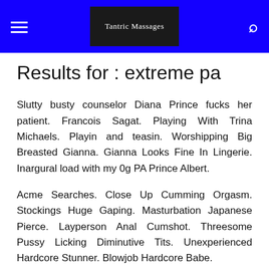Tantric Massages
Results for : extreme pa
Slutty busty counselor Diana Prince fucks her patient. Francois Sagat. Playing With Trina Michaels. Playin and teasin. Worshipping Big Breasted Gianna. Gianna Looks Fine In Lingerie. Inargural load with my 0g PA Prince Albert.
Acme Searches. Close Up Cumming Orgasm. Stockings Huge Gaping. Masturbation Japanese Pierce. Layperson Anal Cumshot. Threesome Pussy Licking Diminutive Tits. Unexperienced Hardcore Stunner. Blowjob Hardcore Babe.
A large collection that combines even the weirdest piercing porn videos along the finest and the hottest. All en route for